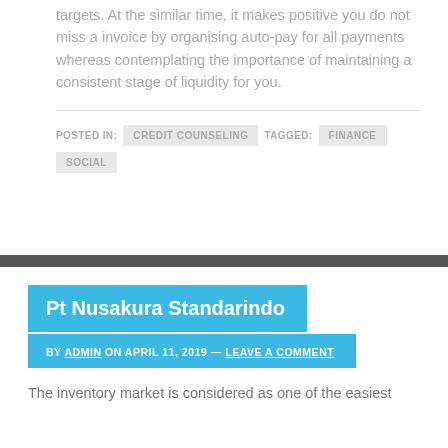targets. At the similar time, it makes positive you do not miss a invoice by organising auto-pay for all payments whereas contemplating the importance of maintaining a consistent stage of liquidity for you.
POSTED IN: CREDIT COUNSELING  TAGGED: FINANCE  SOCIAL
Pt Nusakura Standarindo
BY ADMIN ON APRIL 11, 2019 — LEAVE A COMMENT
The inventory market is considered as one of the easiest